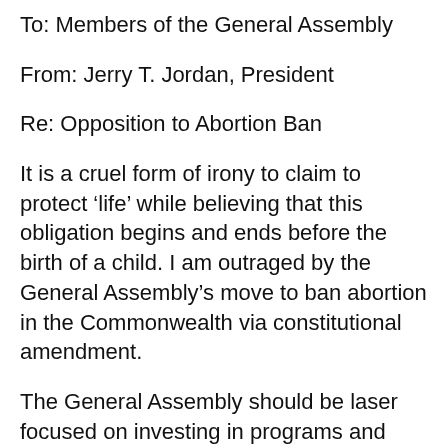To: Members of the General Assembly
From: Jerry T. Jordan, President
Re: Opposition to Abortion Ban
It is a cruel form of irony to claim to protect ‘life’ while believing that this obligation begins and ends before the birth of a child. I am outraged by the General Assembly’s move to ban abortion in the Commonwealth via constitutional amendment.
The General Assembly should be laser focused on investing in programs and services (including women’s healthcare) that support our communities. The proposed abortion ban is the latest in a series of horrific proposals emanating from the state